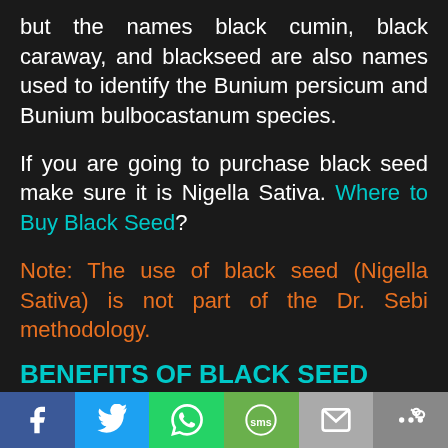but the names black cumin, black caraway, and blackseed are also names used to identify the Bunium persicum and Bunium bulbocastanum species.
If you are going to purchase black seed make sure it is Nigella Sativa. Where to Buy Black Seed?
Note: The use of black seed (Nigella Sativa) is not part of the Dr. Sebi methodology.
BENEFITS OF BLACK SEED
The use of black seed in traditional medicine garnered so much positive
Social share bar with Facebook, Twitter, WhatsApp, SMS, Email, More icons